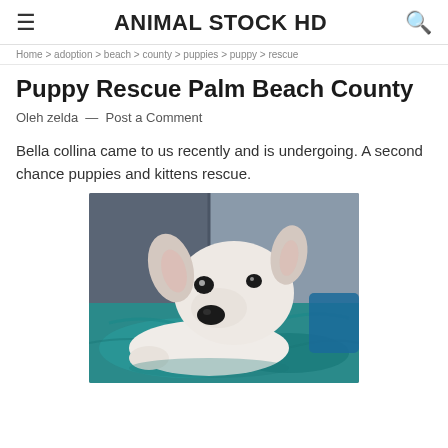ANIMAL STOCK HD
Home > adoption > beach > county > puppies > puppy > rescue
Puppy Rescue Palm Beach County
Oleh zelda — Post a Comment
Bella collina came to us recently and is undergoing. A second chance puppies and kittens rescue.
[Figure (photo): White pit bull puppy lying on a teal/blue blanket inside what appears to be a kennel or shelter, looking at the camera with a gentle expression. The background shows metal kennel walls.]